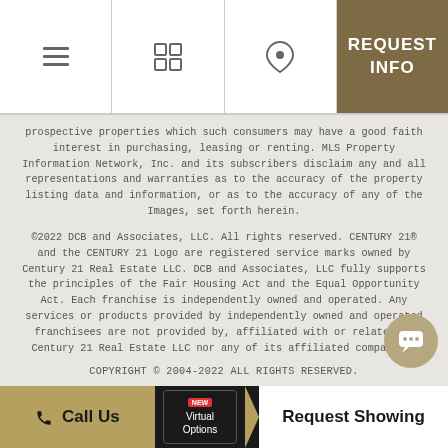Navigation bar with list view, grid view, map view, and REQUEST INFO button
prospective properties which such consumers may have a good faith interest in purchasing, leasing or renting. MLS Property Information Network, Inc. and its subscribers disclaim any and all representations and warranties as to the accuracy of the property listing data and information, or as to the accuracy of any of the Images, set forth herein.
©2022 DCB and Associates, LLC. All rights reserved. CENTURY 21® and the CENTURY 21 Logo are registered service marks owned by Century 21 Real Estate LLC. DCB and Associates, LLC fully supports the principles of the Fair Housing Act and the Equal Opportunity Act. Each franchise is independently owned and operated. Any services or products provided by independently owned and operated franchisees are not provided by, affiliated with or related to Century 21 Real Estate LLC nor any of its affiliated companies.
COPYRIGHT © 2004-2022 ALL RIGHTS RESERVED.
Privacy Policy
Terms and Conditions
Powered by MRT Systems
Call Us | Virtual Options (NEW) | Request Showing